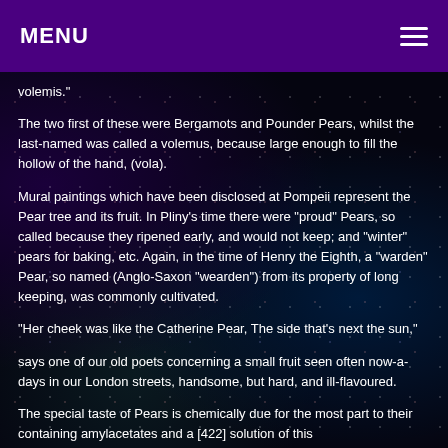MENU
volemis."
The two first of these were Bergamots and Pounder Pears, whilst the last-named was called a volemus, because large enough to fill the hollow of the hand, (vola).
Mural paintings which have been disclosed at Pompeii represent the Pear tree and its fruit. In Pliny's time there were "proud" Pears, so called because they ripened early, and would not keep; and "winter" pears for baking, etc. Again, in the time of Henry the Eighth, a "warden" Pear, so named (Anglo-Saxon "wearden") from its property of long keeping, was commonly cultivated.
"Her cheek was like the Catherine Pear, The side that's next the sun,"
says one of our old poets concerning a small fruit seen often now-a-days in our London streets, handsome, but hard, and ill-flavoured.
The special taste of Pears is chemically due for the most part to their containing amylacetates and a [422] solution of this